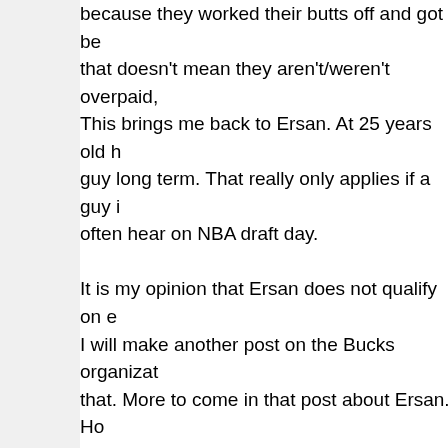because they worked their butts off and got bet... that doesn't mean they aren't/weren't overpaid, This brings me back to Ersan. At 25 years old h... guy long term. That really only applies if a guy i... often hear on NBA draft day. It is my opinion that Ersan does not qualify on e... I will make another post on the Bucks organizat... that. More to come in that post about Ersan. Ho...
Posted by Adamcwis at 9:36 PM   No comments:
Newer Posts
Subscribe to: Posts (Atom)